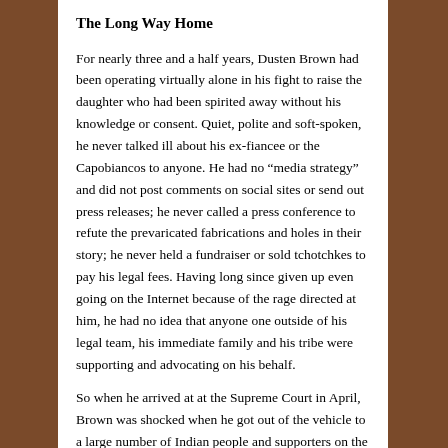The Long Way Home
For nearly three and a half years, Dusten Brown had been operating virtually alone in his fight to raise the daughter who had been spirited away without his knowledge or consent. Quiet, polite and soft-spoken, he never talked ill about his ex-fiancee or the Capobiancos to anyone. He had no “media strategy” and did not post comments on social sites or send out press releases; he never called a press conference to refute the prevaricated fabrications and holes in their story; he never held a fundraiser or sold tchotchkes to pay his legal fees. Having long since given up even going on the Internet because of the rage directed at him, he had no idea that anyone one outside of his legal team, his immediate family and his tribe were supporting and advocating on his behalf.
So when he arrived at at the Supreme Court in April, Brown was shocked when he got out of the vehicle to a large number of Indian people and supporters on the